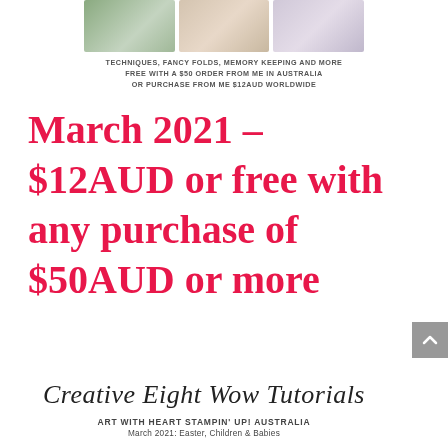[Figure (photo): Three small craft/tutorial preview images in a horizontal strip]
TECHNIQUES, FANCY FOLDS, MEMORY KEEPING AND MORE
FREE WITH A $50 ORDER FROM ME IN AUSTRALIA
OR PURCHASE FROM ME $12AUD WORLDWIDE
March 2021 – $12AUD or free with any purchase of $50AUD or more
Creative Eight Wow Tutorials
ART WITH HEART STAMPIN' UP! AUSTRALIA
March 2021: Easter, Children & Babies